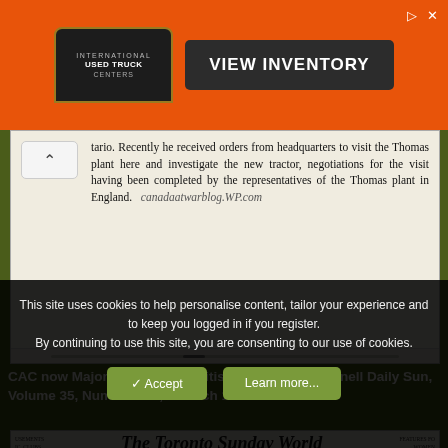[Figure (screenshot): Orange advertisement banner for International Used Truck Centers with 'VIEW INVENTORY' button]
[Figure (screenshot): Scanned newspaper clipping showing text about tractor negotiations and the Thomas plant in England, with canadaatwarblog.WP.com watermark]
CAC now Major E.L. Janney British Aviator. The Cornell Daily Sun, Volume 35, Number 117, 3 March 1915.
[Figure (screenshot): Scanned header of The Toronto Sunday World newspaper dated Sunday March 28, 1915, with headline 'TO START FLYING' and article text about W.A. Dean owner of the Sunfish hydro-aeroplane]
This site uses cookies to help personalise content, tailor your experience and to keep you logged in if you register.
By continuing to use this site, you are consenting to our use of cookies.
✓ Accept
Learn more...